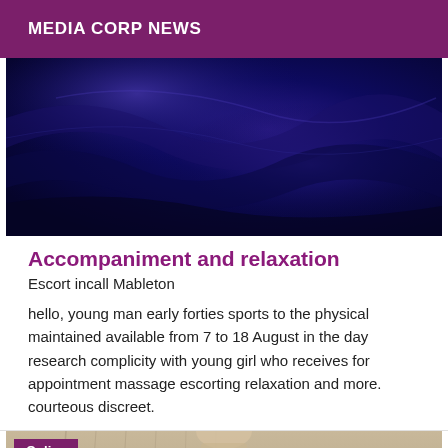MEDIA CORP NEWS
[Figure (photo): Dark blue abstract photo, possibly drapery or fabric with dim lighting]
Accompaniment and relaxation
Escort incall Mableton
hello, young man early forties sports to the physical maintained available from 7 to 18 August in the day research complicity with young girl who receives for appointment massage escorting relaxation and more. courteous discreet.
[Figure (photo): Partial photo of a person with an 'Online' badge overlay in purple]